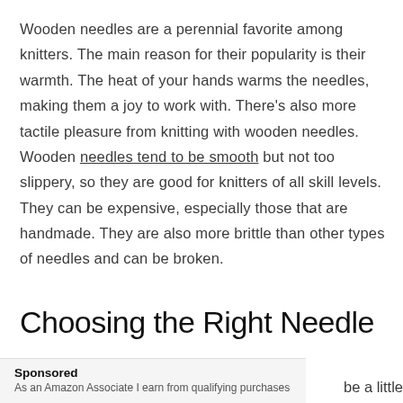Wooden needles are a perennial favorite among knitters. The main reason for their popularity is their warmth. The heat of your hands warms the needles, making them a joy to work with. There's also more tactile pleasure from knitting with wooden needles. Wooden needles tend to be smooth but not too slippery, so they are good for knitters of all skill levels. They can be expensive, especially those that are handmade. They are also more brittle than other types of needles and can be broken.
Choosing the Right Needle
Sponsored
As an Amazon Associate I earn from qualifying purchases
be a little